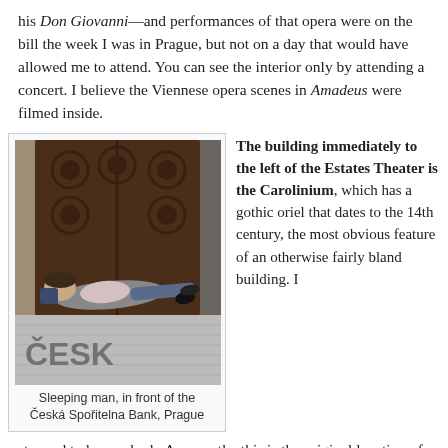his Don Giovanni—and performances of that opera were on the bill the week I was in Prague, but not on a day that would have allowed me to attend. You can see the interior only by attending a concert. I believe the Viennese opera scenes in Amadeus were filmed inside.
[Figure (photo): A man lying on his back on a cobblestone pavement in front of large ornate wooden doors. The cobblestones form the letters ČESK visible in the foreground.]
Sleeping man, in front of the Česká Spořitelna Bank, Prague
The building immediately to the left of the Estates Theater is the Carolinium, which has a gothic oriel that dates to the 14th century, the most obvious feature of an otherwise fairly bland building. I stopped to have a look. Apparently, this is the original location of the Charles University, which is the oldest in